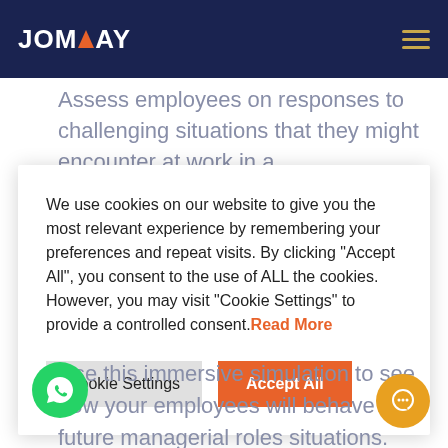JOMBAY
Assess employees on responses to challenging situations that they might encounter at work in a
We use cookies on our website to give you the most relevant experience by remembering your preferences and repeat visits. By clicking "Accept All", you consent to the use of ALL the cookies. However, you may visit "Cookie Settings" to provide a controlled consent. Read More
Use this immersive simulation to see how your employees will behave in future managerial roles situations.